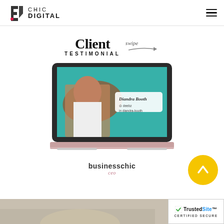[Figure (logo): Chic Digital logo with geometric icon and text]
[Figure (illustration): Hamburger menu icon (three horizontal lines)]
Client TESTIMONIAL
[Figure (screenshot): Laptop screen showing a client testimonial card for Diandra Booth with teal background, photo, and social media handles @deebz and diandra-booth]
businesschic
ceo
[Figure (illustration): Yellow circular button with upward chevron arrow]
[Figure (photo): Partial bottom strip showing a photo, cropped]
[Figure (logo): TrustedSite CERTIFIED SECURE badge]